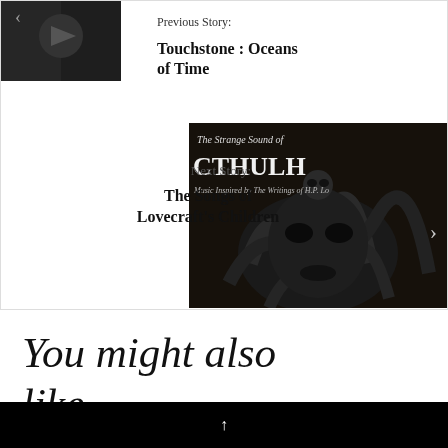[Figure (photo): Dark image thumbnail for previous story - Touchstone: Oceans of Time]
Previous Story:
Touchstone : Oceans of Time
[Figure (photo): Dark artistic image of Cthulhu creature with tentacles and skull, for album The Strange Sounds of Cthulhu]
Next Story:
The Songs of Lovecraft's Children
You might also like
↑